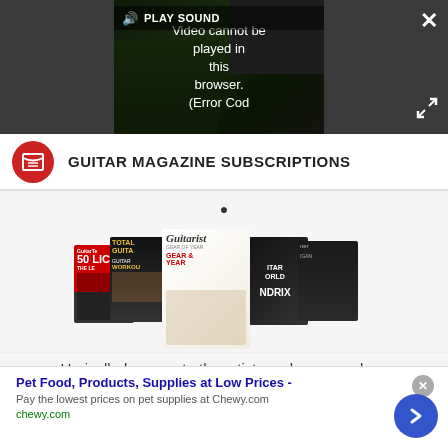[Figure (screenshot): Video player showing error message: 'Video cannot be played in this browser. (Error Cod' with PLAY SOUND control and close/expand buttons on dark background]
GUITAR MAGAZINE SUBSCRIPTIONS
[Figure (illustration): Carousel of guitar magazine covers including GuitarTechniques, Total Guitar, Guitarist (Gear of the Year), Guitar World (Jimi Hendrix), and another magazine cover, with a dot indicator above]
Unrivalled access to the artists and gear you love
Pet Food, Products, Supplies at Low Prices -
Pay the lowest prices on pet supplies at Chewy.com
chewy.com